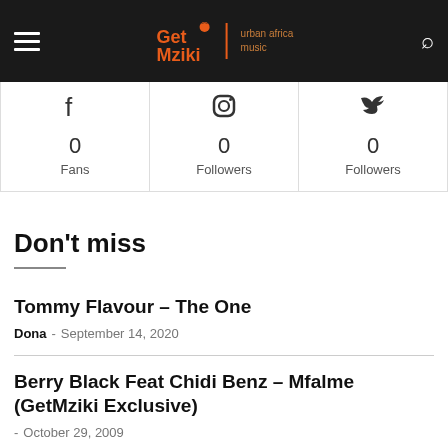GetMziki | urban africa music
0 Fans | 0 Followers (Instagram) | 0 Followers (Twitter)
Don't miss
Tommy Flavour – The One
Dona - September 14, 2020
Berry Black Feat Chidi Benz – Mfalme (GetMziki Exclusive)
- October 29, 2009